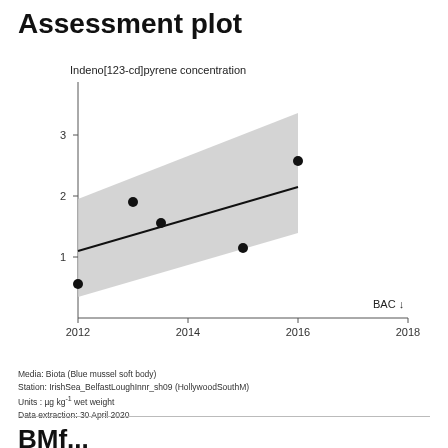Assessment plot
[Figure (continuous-plot): Scatter plot with linear regression trend line and confidence interval band. X-axis shows years 2012-2018, Y-axis shows concentration values 0 to 3+. Data points at approximately: 2012~0.55, 2013~1.9, 2013.5~1.56, 2015~1.15, 2016~2.57. Trend line rises from ~1.1 in 2012 to ~2.15 in 2016. Grey confidence band shown. BAC reference line indicated with downward arrow on right.]
Media: Biota (Blue mussel soft body)
Station: IrishSea_BelfastLoughInnr_sh09 (HollywoodSouthM)
Units: µg kg⁻¹ wet weight
Data extraction: 30 April 2020
BMf...